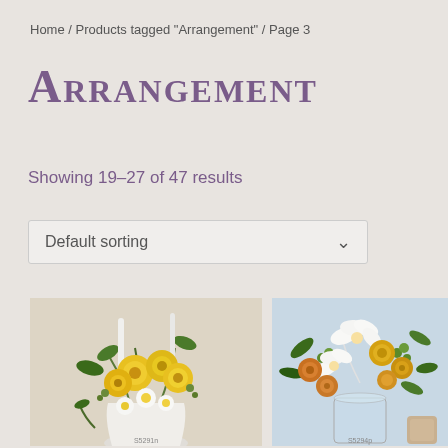Home / Products tagged "Arrangement" / Page 3
ARRANGEMENT
Showing 19–27 of 47 results
Default sorting
[Figure (photo): Yellow flower arrangement with mums, daisies, and green accents in a white vase, product code S5291n]
[Figure (photo): Yellow roses and white lilies arrangement in a clear glass vase with a small decorative item, product code S5294p]